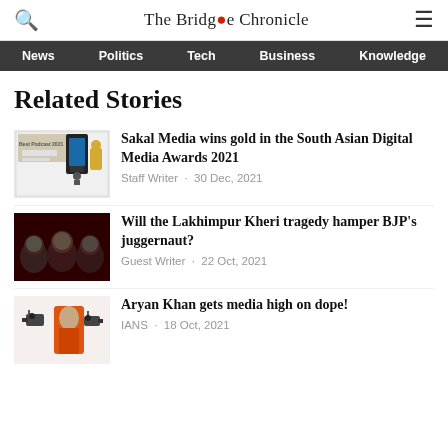The Bridge Chronicle
News  Politics  Tech  Business  Knowledge
Related Stories
[Figure (photo): Podcast award image thumbnail]
Sakal Media wins gold in the South Asian Digital Media Awards 2021
Staff Writer · 30 Dec, 2021
[Figure (photo): Three men faces on dark red background - BJP Lakhimpur Kheri story]
Will the Lakhimpur Kheri tragedy hamper BJP's juggernaut?
Guest Writer · 22 Oct, 2021
[Figure (photo): Man in orange jacket with cameras - Aryan Khan media story]
Aryan Khan gets media high on dope!
IANS · 18 Oct, 2021